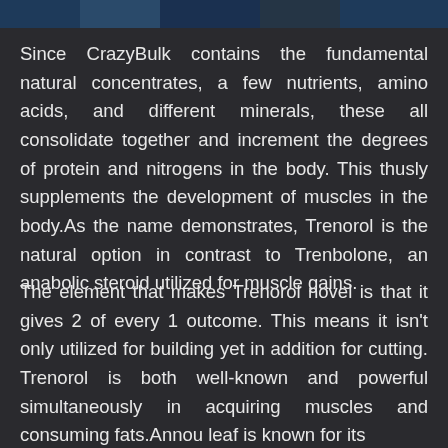[Figure (photo): Partial image strip at the top of the page showing what appears to be a fitness/bodybuilding related photo]
Since CrazyBulk contains the fundamental natural concentrates, a few nutrients, amino acids, and different minerals, these all consolidate together and increment the degrees of protein and nitrogens in the body. This thusly supplements the development of muscles in the body.As the name demonstrates, Trenorol is the natural option in contrast to Trenbolone, an anabolic steroid utilized for muscle gains.
The element that makes Trenorol novel is that it gives 2 of every 1 outcome. This means it isn't only utilized for building yet in addition for cutting. Trenorol is both well-known and powerful simultaneously in acquiring muscles and consuming fats.Annou leaf is known for its